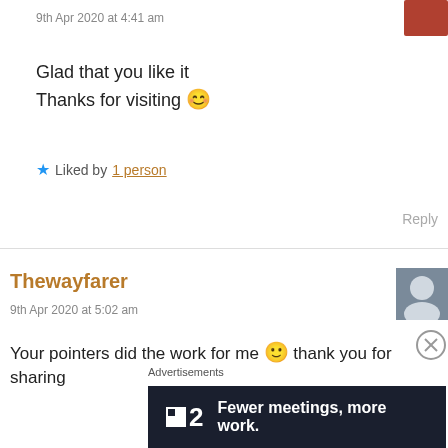9th Apr 2020 at 4:41 am
Glad that you like it
Thanks for visiting 😊
★ Liked by 1 person
Reply
Thewayfarer
9th Apr 2020 at 5:02 am
Your pointers did the work for me 🙂 thank you for sharing
Advertisements
2 Fewer meetings, more work.